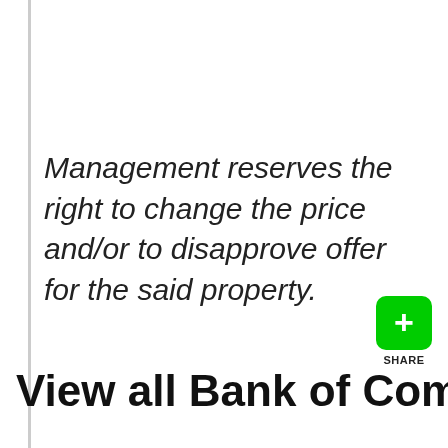Management reserves the right to change the price and/or to disapprove offer for the said property.
[Figure (other): Green share button with plus icon and SHARE label]
View all Bank of Commerce